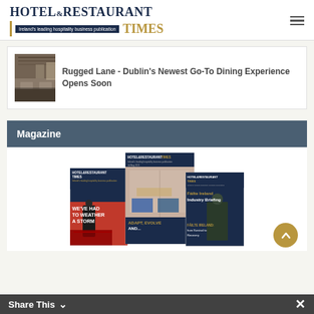HOTEL & RESTAURANT TIMES — Ireland's leading hospitality business publication
[Figure (photo): Interior of Rugged Lane restaurant dining space with wooden ceiling and ambient lighting]
Rugged Lane - Dublin's Newest Go-To Dining Experience Opens Soon
Magazine
[Figure (photo): Three overlapping Hotel & Restaurant Times magazine covers: left cover shows 'We've had to weather a storm', center cover shows interior lobby with 'Adapt, Evolve And', right cover shows 'Fáilte Ireland Industry Briefing']
Share This